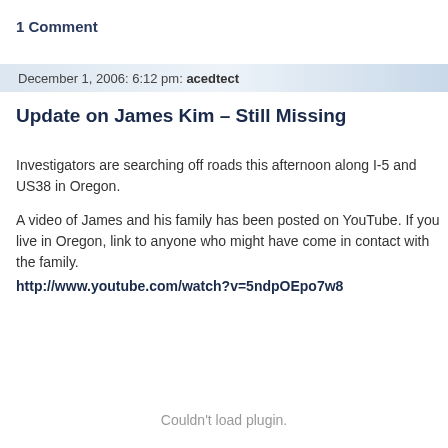1 Comment
December 1, 2006: 6:12 pm: acedtect
Update on James Kim – Still Missing
Investigators are searching off roads this afternoon along I-5 and US38 in Oregon.
A video of James and his family has been posted on YouTube. If you live in Oregon, link to anyone who might have come in contact with the family.
http://www.youtube.com/watch?v=5ndpOEpo7w8
Couldn't load plugin.